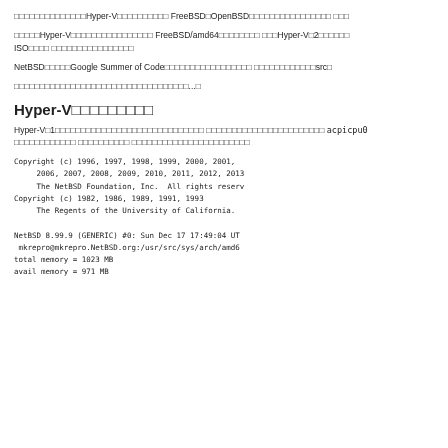□□□□□□□□□□□□□□Hyper-V□□□□□□□□□□ FreeBSD□OpenBSD□□□□□□□□□□□□□□□□ □□□
□□□□□Hyper-V□□□□□□□□□□□□□□□□ FreeBSD/amd64□□□□□□□□ □□□Hyper-V□2□□□□□□ ISO□□□□ □□□□□□□□□□□□□□□□
NetBSD□□□□□Google Summer of Code□□□□□□□□□□□□□□□□□ □□□□□□□□□□□□src□
□□□□□□□□□□□□□□□□□□□□□□□□□□□□□□□□□□...□
Hyper-V□□□□□□□□□
Hyper-V□1□□□□□□□□□□□□□□□□□□□□□□□□□□□□□ □□□□□□□□□□□□□□□□□□□□□□□ acpicpu0 □□□□□□□□□□□□ □□□□□□□□□□ □□□□□□□□□□□□□□□□□□□□□□□
Copyright (c) 1996, 1997, 1998, 1999, 2000, 2001,
     2006, 2007, 2008, 2009, 2010, 2011, 2012, 2013
     The NetBSD Foundation, Inc.  All rights reserv
Copyright (c) 1982, 1986, 1989, 1991, 1993
     The Regents of the University of California.

NetBSD 8.99.9 (GENERIC) #0: Sun Dec 17 17:49:04 UT
 mkrepro@mkrepro.NetBSD.org:/usr/src/sys/arch/amd6
total memory = 1023 MB
avail memory = 971 MB